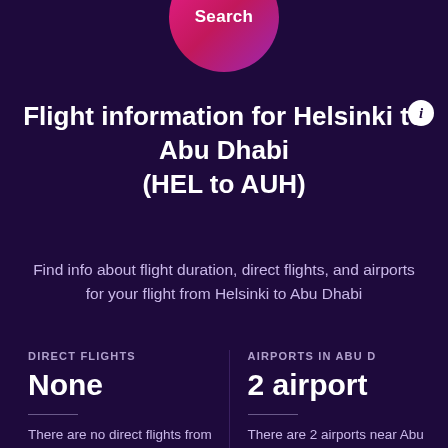[Figure (other): Pink-to-purple gradient circular Search button at top center]
Flight information for Helsinki to Abu Dhabi (HEL to AUH)
Find info about flight duration, direct flights, and airports for your flight from Helsinki to Abu Dhabi
DIRECT FLIGHTS
None
There are no direct flights from Helsinki to Abu Dhabi. There are no
AIRPORTS IN ABU D
2 airport
There are 2 airports near Abu Dhabi Bateen (AZI)